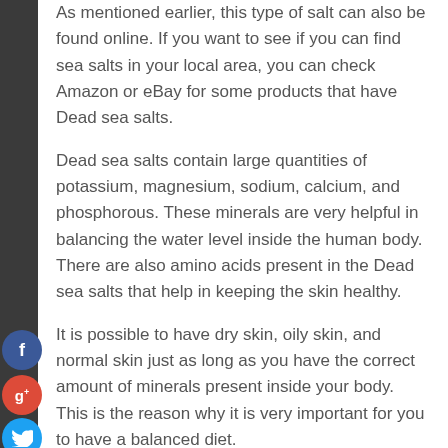As mentioned earlier, this type of salt can also be found online. If you want to see if you can find sea salts in your local area, you can check Amazon or eBay for some products that have Dead sea salts.
Dead sea salts contain large quantities of potassium, magnesium, sodium, calcium, and phosphorous. These minerals are very helpful in balancing the water level inside the human body. There are also amino acids present in the Dead sea salts that help in keeping the skin healthy.
It is possible to have dry skin, oily skin, and normal skin just as long as you have the correct amount of minerals present inside your body. This is the reason why it is very important for you to have a balanced diet.
Having the right amount of nutrients inside your body is